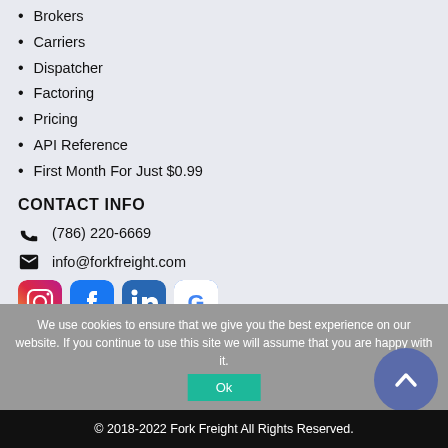Brokers
Carriers
Dispatcher
Factoring
Pricing
API Reference
First Month For Just $0.99
CONTACT INFO
(786) 220-6669
info@forkfreight.com
[Figure (logo): Social media icons: Instagram, Facebook, LinkedIn, Google]
We use cookies to ensure that we give you the best experience on our website. If you continue to use this site we will assume that you are happy with it.
© 2018-2022 Fork Freight All Rights Reserved.